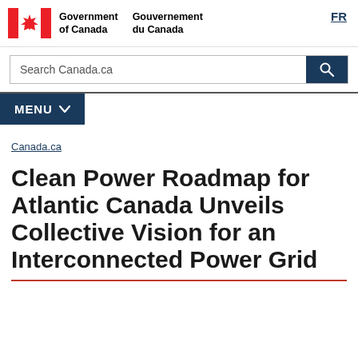Government of Canada / Gouvernement du Canada   FR
Search Canada.ca
MENU
Canada.ca
Clean Power Roadmap for Atlantic Canada Unveils Collective Vision for an Interconnected Power Grid